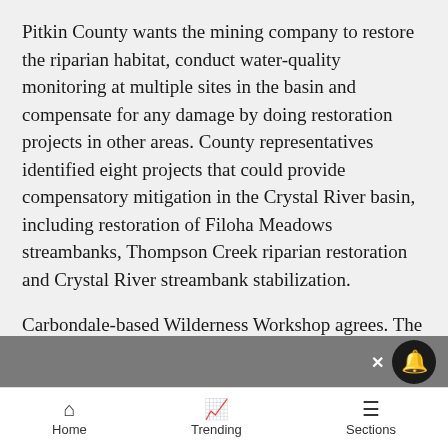Pitkin County wants the mining company to restore the riparian habitat, conduct water-quality monitoring at multiple sites in the basin and compensate for any damage by doing restoration projects in other areas. County representatives identified eight projects that could provide compensatory mitigation in the Crystal River basin, including restoration of Filoha Meadows streambanks, Thompson Creek riparian restoration and Crystal River streambank stabilization.
Carbondale-based Wilderness Workshop agrees. The conservation organization is also getting involved in the issue, signing on to the comments provided by CVEPA.
“It is a shocking issue,” said Peter Hart, conservation
Home   Trending   Sections